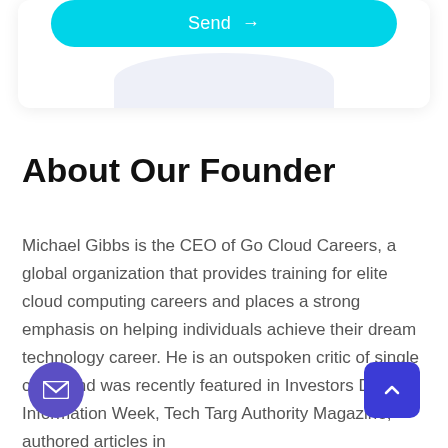[Figure (other): Cyan/turquoise 'Send →' button at the top of a white card with a light lavender decorative shape at the bottom]
About Our Founder
Michael Gibbs is the CEO of Go Cloud Careers, a global organization that provides training for elite cloud computing careers and places a strong emphasis on helping individuals achieve their dream technology career. He is an outspoken critic of single cloud and was recently featured in Investors Daily, Information Week, Tech Targ Authority Magazine, authored articles in